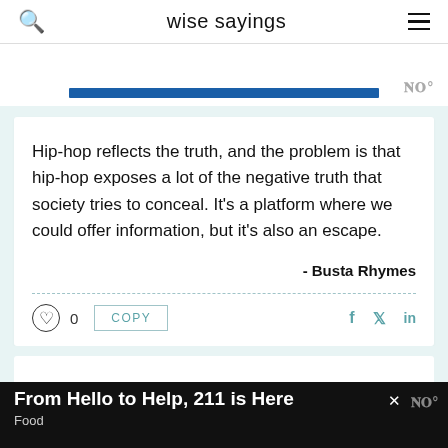wise sayings
[Figure (screenshot): Blue advertisement bar with Wd logo]
Hip-hop reflects the truth, and the problem is that hip-hop exposes a lot of the negative truth that society tries to conceal. It's a platform where we could offer information, but it's also an escape.
- Busta Rhymes
0  COPY
[Figure (screenshot): Bottom advertisement banner: From Hello to Help, 211 is Here / Food]